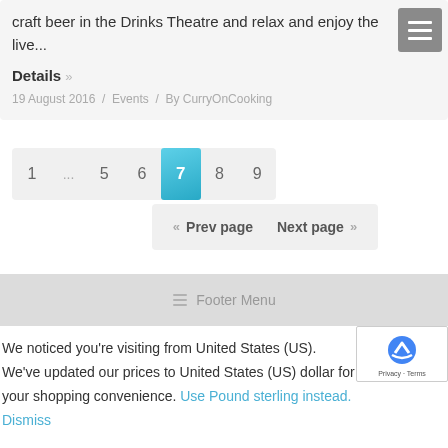craft beer in the Drinks Theatre and relax and enjoy the live...
Details »
19 August 2016 / Events / By CurryOnCooking
1 ... 5 6 7 8 9 | « Prev page  Next page »
Footer Menu
We noticed you're visiting from United States (US). We've updated our prices to United States (US) dollar for your shopping convenience. Use Pound sterling instead. Dismiss